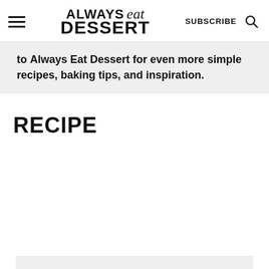ALWAYS eat DESSERT | SUBSCRIBE | [search icon]
to Always Eat Dessert for even more simple recipes, baking tips, and inspiration.
RECIPE